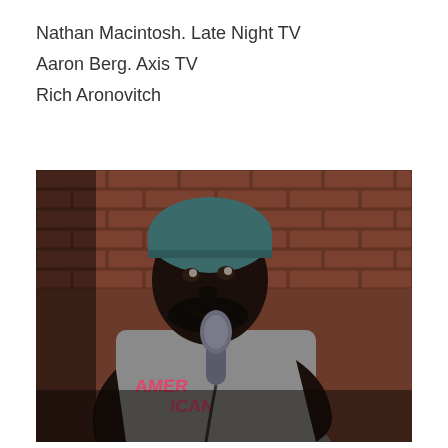Nathan Macintosh. Late Night TV
Aaron Berg. Axis TV
Rich Aronovitch
[Figure (photo): A man wearing a dark teal beanie and grey t-shirt with pink 'AMERICAN' lettering holds a microphone and performs stand-up comedy in front of a brick wall background.]